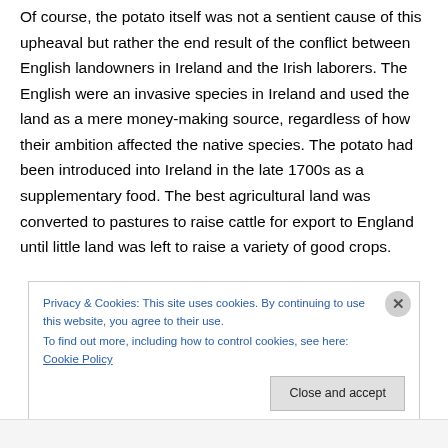Of course, the potato itself was not a sentient cause of this upheaval but rather the end result of the conflict between English landowners in Ireland and the Irish laborers. The English were an invasive species in Ireland and used the land as a mere money-making source, regardless of how their ambition affected the native species. The potato had been introduced into Ireland in the late 1700s as a supplementary food. The best agricultural land was converted to pastures to raise cattle for export to England until little land was left to raise a variety of good crops.
Privacy & Cookies: This site uses cookies. By continuing to use this website, you agree to their use. To find out more, including how to control cookies, see here: Cookie Policy
Close and accept